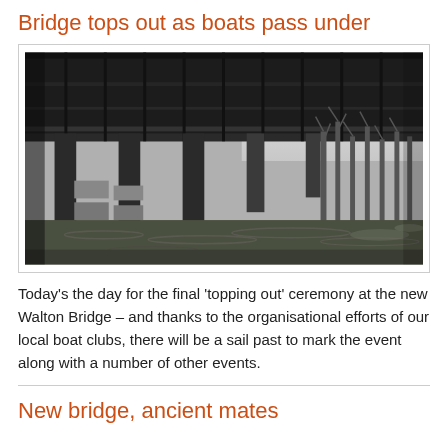Bridge tops out as boats pass under
[Figure (photo): View from underneath a large steel/iron bridge over a river, looking along the underside of the bridge deck with pillars going into the water. Trees visible in the background on the right. Water is dark and rippled in the foreground.]
Today's the day for the final 'topping out' ceremony at the new Walton Bridge – and thanks to the organisational efforts of our local boat clubs, there will be a sail past to mark the event along with a number of other events.
New bridge, ancient mates